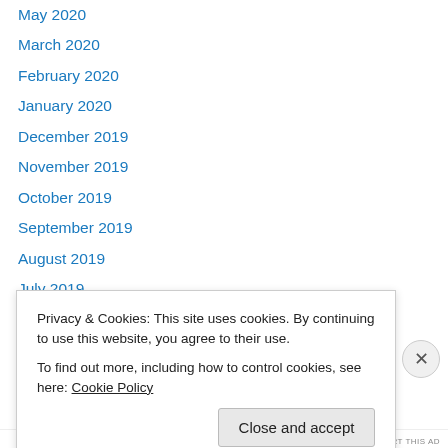May 2020
March 2020
February 2020
January 2020
December 2019
November 2019
October 2019
September 2019
August 2019
July 2019
June 2019
May 2019
April 2019
Privacy & Cookies: This site uses cookies. By continuing to use this website, you agree to their use.
To find out more, including how to control cookies, see here: Cookie Policy
Close and accept